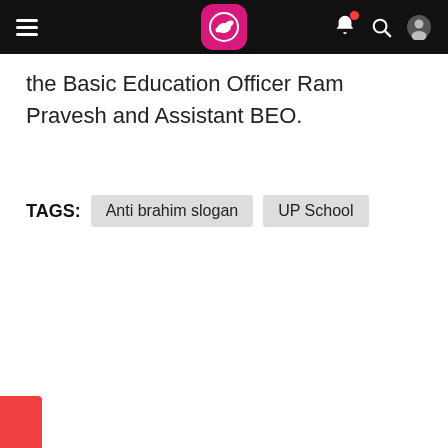App navigation bar with logo, hamburger menu, bell notification, search, and user icons
the Basic Education Officer Ram Pravesh and Assistant BEO.
TAGS: Anti brahim slogan  UP School